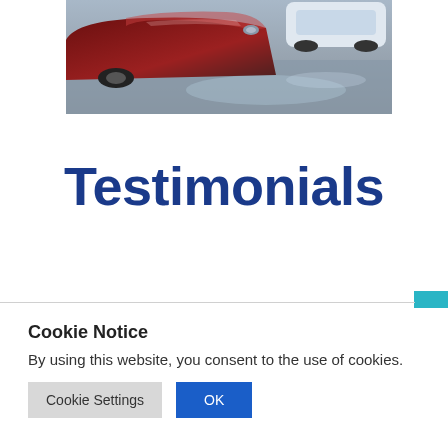[Figure (photo): Overhead/aerial view of cars in a parking lot or road, showing a dark red/maroon car and a white car on wet pavement]
Testimonials
Cookie Notice
By using this website, you consent to the use of cookies.
Cookie Settings  OK